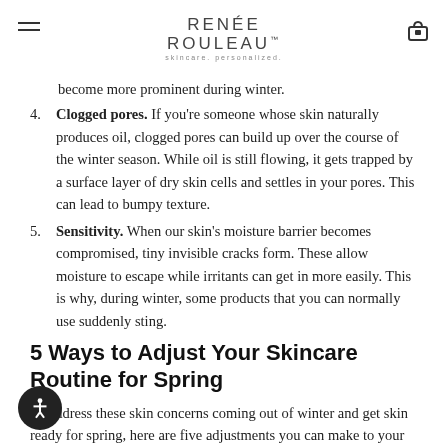RENÉE ROULEAU™ skincare. personalized.
become more prominent during winter.
4. Clogged pores. If you're someone whose skin naturally produces oil, clogged pores can build up over the course of the winter season. While oil is still flowing, it gets trapped by a surface layer of dry skin cells and settles in your pores. This can lead to bumpy texture.
5. Sensitivity. When our skin's moisture barrier becomes compromised, tiny invisible cracks form. These allow moisture to escape while irritants can get in more easily. This is why, during winter, some products that you can normally use suddenly sting.
5 Ways to Adjust Your Skincare Routine for Spring
To address these skin concerns coming out of winter and get skin ready for spring, here are five adjustments you can make to your skincare routine.